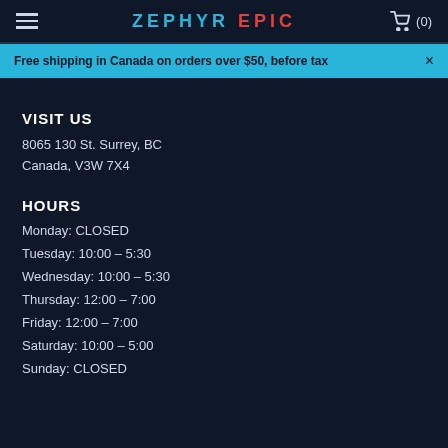ZEPHYR EPIC (0)
Free shipping in Canada on orders over $50, before tax
VISIT US
8065 130 St. Surrey, BC
Canada, V3W 7X4
HOURS
Monday: CLOSED
Tuesday: 10:00 – 5:30
Wednesday: 10:00 – 5:30
Thursday: 12:00 – 7:00
Friday: 12:00 – 7:00
Saturday: 10:00 – 5:00
Sunday: CLOSED